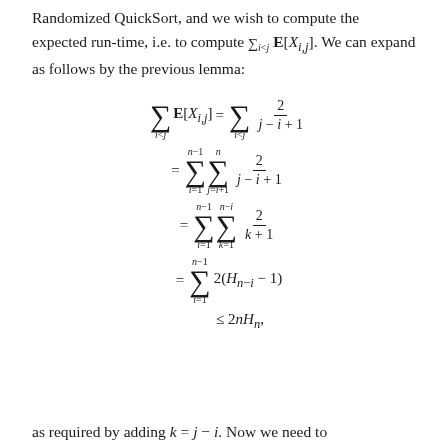Randomized QuickSort, and we wish to compute the expected run-time, i.e. to compute ∑_{i<j} E[X_{i,j}]. We can expand as follows by the previous lemma:
as required by adding k = j − i. Now we need to